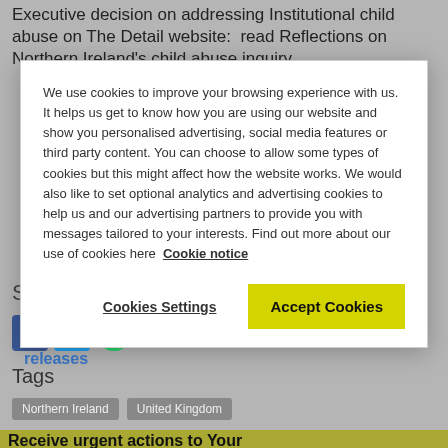Executive decision on addressing Institutional child abuse on The Detail website: read Reflections on Northern Ireland's child abuse inquiry
View latest press releases
Share
Tags
Northern Ireland
United Kingdom
View all tags →
Receive urgent actions to Your
We use cookies to improve your browsing experience with us. It helps us get to know how you are using our website and show you personalised advertising, social media features or third party content. You can choose to allow some types of cookies but this might affect how the website works. We would also like to set optional analytics and advertising cookies to help us and our advertising partners to provide you with messages tailored to your interests. Find out more about our use of cookies here Cookie notice
Cookies Settings
Accept Cookies